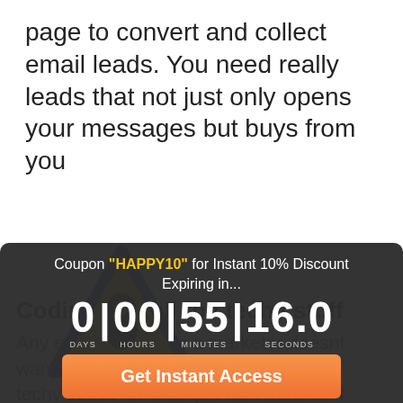page to convert and collect email leads. You need really leads that not just only opens your messages but buys from you
[Figure (illustration): Warning triangle icon with blue outline and yellow/orange fill with a dark keyhole shape in center]
Coupon "HAPPY10" for Instant 10% Discount
Expiring in...
0 | 00 | 55 | 16.0
DAYS | HOURS | MINUTES | SECONDS
Get Instant Access
Coding and all the techy stuff
Any entrepreneur as a marketer doesnt want to get their hands dirty with all the techy codes for a simple task done and